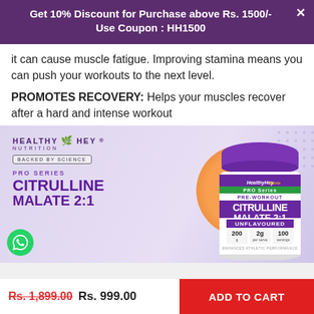Get 10% Discount for Purchase above Rs. 1500/- Use Coupon : HH1500
it can cause muscle fatigue. Improving stamina means you can push your workouts to the next level.
PROMOTES RECOVERY: Helps your muscles recover after a hard and intense workout
[Figure (photo): HealthyHey Nutrition product image showing Citrulline Malate 2:1 Pre-Workout powder jar (200g, 2g per serve, 100 servings), Unflavoured, Pro Series, with orange accents on purple/lavender background. Brand text: HEALTHY HEY NUTRITION, BACKED BY SCIENCE, PRO SERIES, CITRULLINE MALATE 2:1. WhatsApp icon visible bottom left.]
Rs. 1,899.00 Rs. 999.00
ADD TO CART